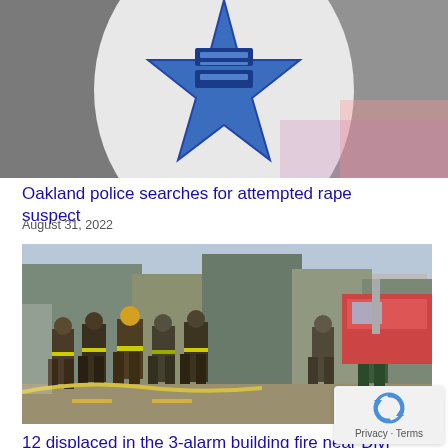[Figure (photo): Partial view of a blue star-shaped police badge on a building exterior, cropped at top]
Oakland police searches for attempted rape suspect
August 31, 2022
[Figure (photo): Firefighters in gear standing on a street scene, viewed from behind, with fire trucks and urban buildings in background]
12 displaced in the 3-alarm building fire near Divi and Haight streets
August 31, 2022